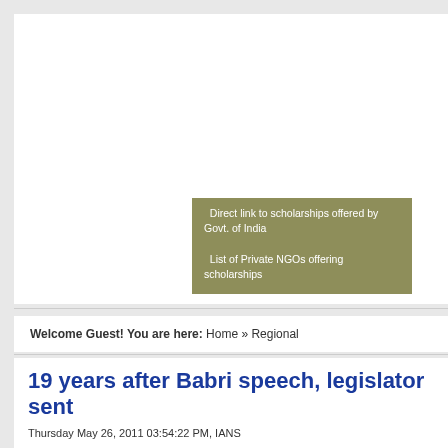[Figure (other): White advertisement/content area at top of webpage]
Direct link to scholarships offered by Govt. of India
List of Private NGOs offering scholarships
Welcome Guest! You are here: Home » Regional
19 years after Babri speech, legislator sent
Thursday May 26, 2011 03:54:22 PM, IANS
Patna: Bharatiya Janata Party (BJP) legislator Ramadhar Singh was Thursday sent 14 days judicial custody for making an inflammatory speech after the Babri Masjid 1992.